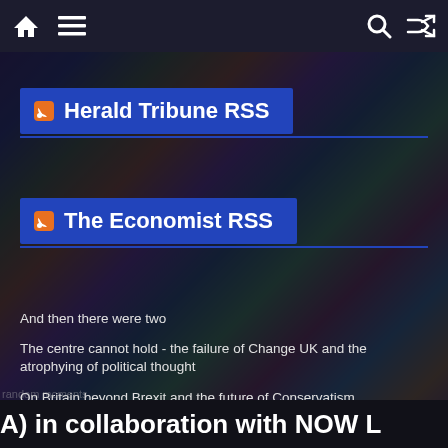Herald Tribune RSS | The Economist RSS (navigation with home, menu, search, shuffle icons)
Herald Tribune RSS
The Economist RSS
And then there were two
The centre cannot hold - the failure of Change UK and the atrophying of political thought
On Britain beyond Brexit and the future of Conservatism
On Change UK's inadequacies, political agreements and missing Scots
A) in collaboration with NOW L